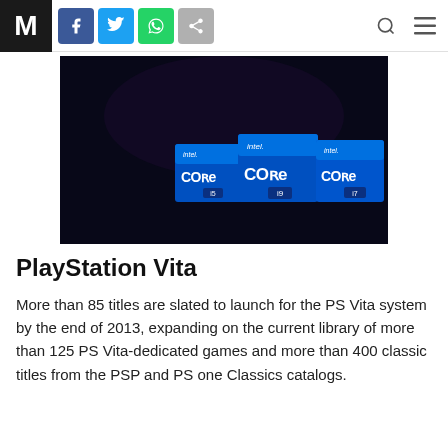M [logo] | Facebook | Twitter | WhatsApp | Share | Search | Menu
[Figure (photo): Dark background image showing Intel Core i5, i9, and i7 processor logos/badges displayed on a dark stage or screen]
PlayStation Vita
More than 85 titles are slated to launch for the PS Vita system by the end of 2013, expanding on the current library of more than 125 PS Vita-dedicated games and more than 400 classic titles from the PSP and PS one Classics catalogs.